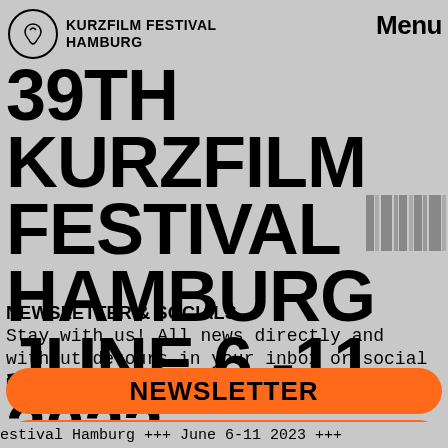KURZFILM FESTIVAL HAMBURG
39TH KURZFILM FESTIVAL HAMBURG JUNE 6 -11 2023
NEWSLETTER & SOCIALS
Stay with us! All news directly and without detours in your inbox or social media feed:
NEWSLETTER
INSTAGRAM
estival Hamburg +++ June 6-11 2023 +++